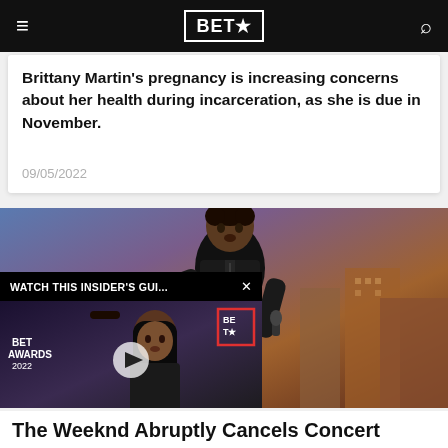BET★
Brittany Martin's pregnancy is increasing concerns about her health during incarceration, as she is due in November.
09/05/2022
[Figure (photo): Photo of The Weeknd on stage with a microphone, with a city backdrop. An overlay video player shows 'WATCH THIS INSIDER'S GUI...' with a thumbnail of a woman at BET Awards.]
The Weeknd Abruptly Cancels Concert